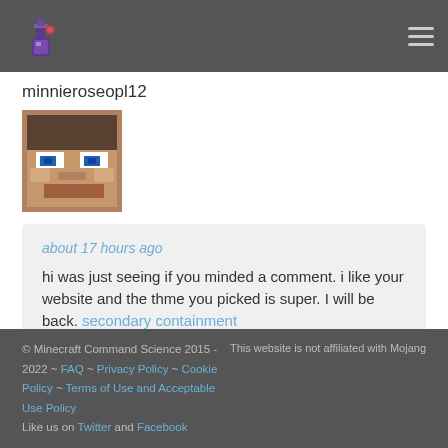Minecraft Command Science logo and navigation menu
minnieroseopl12
[Figure (photo): Minecraft-style pixelated avatar of a character face with blue eyes and gray skin]
about 17 hours ago
hi was just seeing if you minded a comment. i like your website and the thme you picked is super. I will be back. secondary containment
© Minecraft Command Science 2015 - 2022 ~ FAQ ~ Privacy Policy ~ Cookie Policy ~ Terms of Use and Acceptable Use Policy
This website is not affiliated with Mojang
Like us on Twitter and Facebook